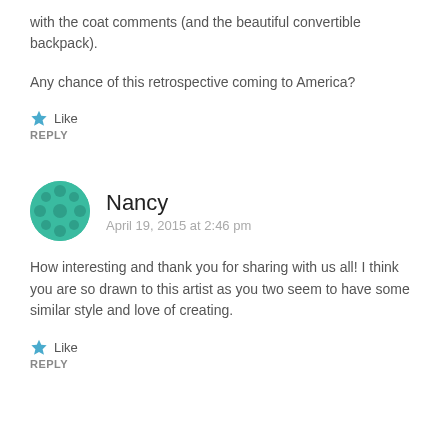with the coat comments (and the beautiful convertible backpack).
Any chance of this retrospective coming to America?
Like
REPLY
Nancy
April 19, 2015 at 2:46 pm
How interesting and thank you for sharing with us all! I think you are so drawn to this artist as you two seem to have some similar style and love of creating.
Like
REPLY